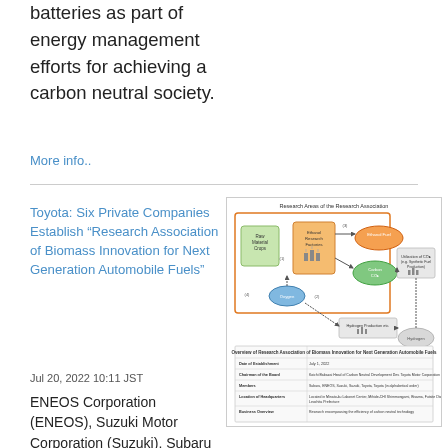batteries as part of energy management efforts for achieving a carbon neutral society.
More info..
Toyota: Six Private Companies Establish "Research Association of Biomass Innovation for Next Generation Automobile Fuels"
Jul 20, 2022 10:11 JST
ENEOS Corporation (ENEOS), Suzuki Motor Corporation (Suzuki), Subaru Corporation (Subaru),
[Figure (flowchart): Research Areas of the Research Association diagram showing flow from Raw Material Crops through Ethanol Research Factories to Ethanol Fuel and Carbon CO2, with Oxygen input, and paths to Hydrogen Production and Utilization of CO2 (e.g. Synthetic Fuel Production). Includes overview table with Date of Establishment, Chairman of the Board, Members, Location of Headquarters, Business Overview.]